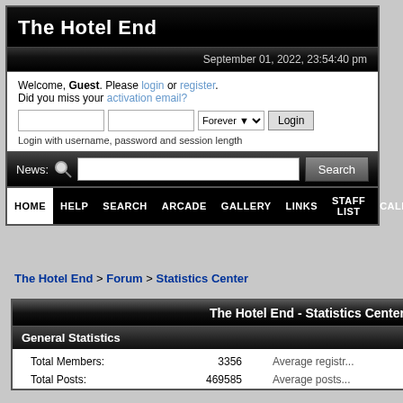The Hotel End
September 01, 2022, 23:54:40 pm
Welcome, Guest. Please login or register. Did you miss your activation email?
Login with username, password and session length
News:
HOME  HELP  SEARCH  ARCADE  GALLERY  LINKS  STAFF LIST  CALENDAR  LOGIN
The Hotel End > Forum > Statistics Center
The Hotel End - Statistics Center
General Statistics
|  | Label | Value |  | Label |
| --- | --- | --- | --- | --- |
|  | Total Members: | 3356 |  | Average registr... |
|  | Total Posts: | 469585 |  | Average posts... |